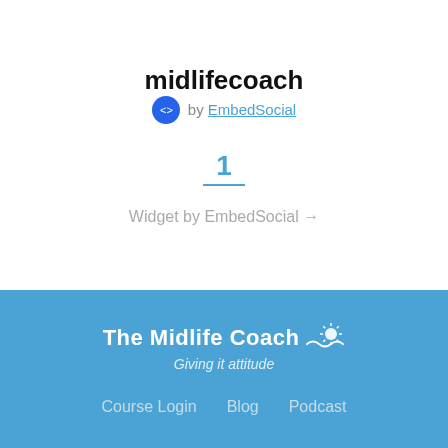midlifecoach
by EmbedSocial
1
Widget by EmbedSocial →
[Figure (logo): The Midlife Coach logo with sun and wave icon, tagline: Giving it attitude]
Course Login   Blog   Podcast